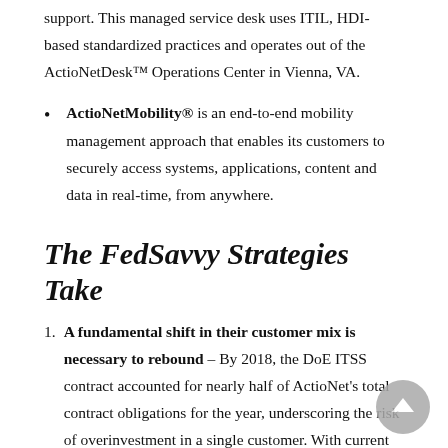support. This managed service desk uses ITIL, HDI-based standardized practices and operates out of the ActioNetDesk™ Operations Center in Vienna, VA.
ActioNetMobility® is an end-to-end mobility management approach that enables its customers to securely access systems, applications, content and data in real-time, from anywhere.
The FedSavvy Strategies Take
A fundamental shift in their customer mix is necessary to rebound – By 2018, the DoE ITSS contract accounted for nearly half of ActioNet's total contract obligations for the year, underscoring the risk of overinvestment in a single customer. With current work at HHS, DoT, and DoS, and recent contract wins within